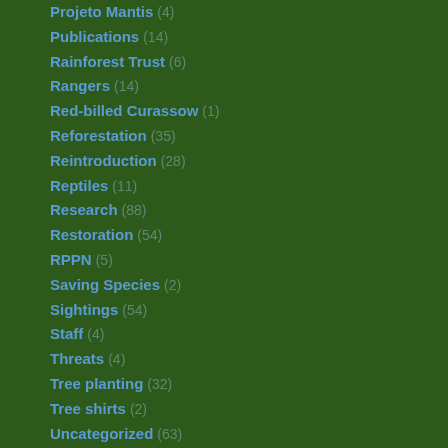Projeto Mantis (4)
Publications (14)
Rainforest Trust (6)
Rangers (14)
Red-billed Curassow (1)
Reforestation (35)
Reintroduction (28)
Reptiles (11)
Research (88)
Restoration (54)
RPPN (5)
Saving Species (2)
Sightings (54)
Staff (4)
Threats (4)
Tree planting (32)
Tree shirts (2)
Uncategorized (63)
Visitors (16)
Volunteering